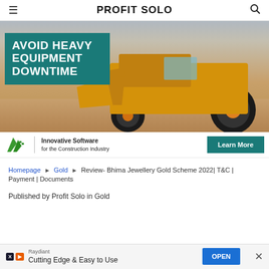PROFIT SOLO
[Figure (photo): Advertisement banner showing a bulldozer/heavy equipment with teal overlay box reading 'AVOID HEAVY EQUIPMENT DOWNTIME'. Bottom bar shows HCSS logo with 'Innovative Software for the Construction Industry' and a 'Learn More' button.]
Homepage ▶ Gold ▶ Review- Bhima Jewellery Gold Scheme 2022| T&C | Payment | Documents
Published by Profit Solo in Gold
[Figure (infographic): Bottom advertisement banner: Raydiant brand, 'Cutting Edge & Easy to Use' tagline, with OPEN button and X/play icons.]